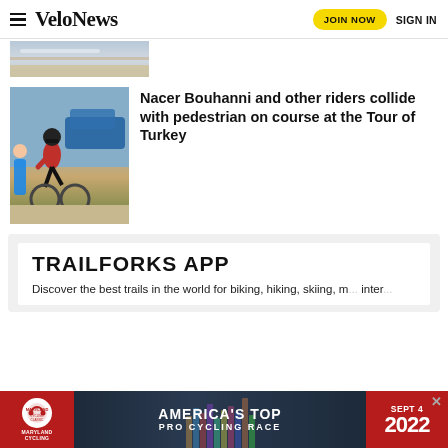VeloNews  JOIN NOW  SIGN IN
[Figure (photo): Partial cycling road race photo at top]
[Figure (photo): Nacer Bouhanni cyclist photo at an event]
Nacer Bouhanni and other riders collide with pedestrian on course at the Tour of Turkey
[Figure (infographic): Trailforks App advertisement panel]
TRAILFORKS APP
Discover the best trails in the world for biking, hiking, skiing, m... inter...
[Figure (infographic): Americas Top Pro Cycling Race advertisement banner - Maryland cycling race Sept 4 2022]